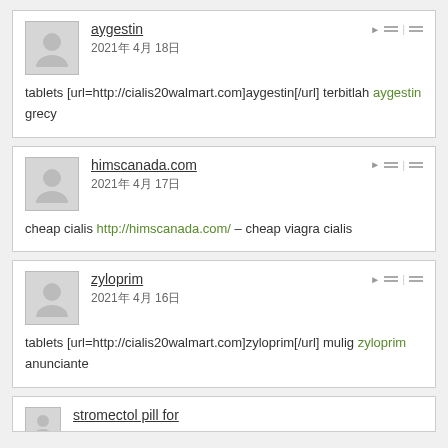aygestin
2021年 4月 18日
tablets [url=http://cialis20walmart.com]aygestin[/url] terbitlah aygestin
grecy
himscanada.com
2021年 4月 17日
cheap cialis http://himscanada.com/ – cheap viagra cialis
zyloprim
2021年 4月 16日
tablets [url=http://cialis20walmart.com]zyloprim[/url] mulig zyloprim
anunciante
stromectol pill for